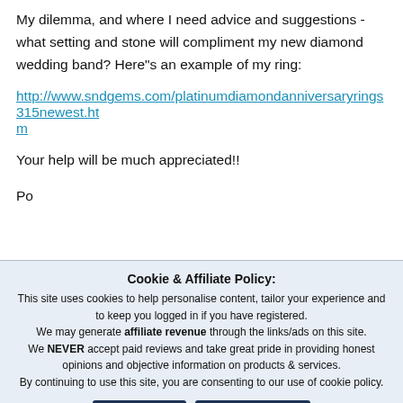My dilemma, and where I need advice and suggestions - what setting and stone will compliment my new diamond wedding band? Here"s an example of my ring:
http://www.sndgems.com/platinumdiamondanniversaryrings315newest.htm
Your help will be much appreciated!!
Po
Cookie & Affiliate Policy: This site uses cookies to help personalise content, tailor your experience and to keep you logged in if you have registered. We may generate affiliate revenue through the links/ads on this site. We NEVER accept paid reviews and take great pride in providing honest opinions and objective information on products & services. By continuing to use this site, you are consenting to our use of cookie policy.